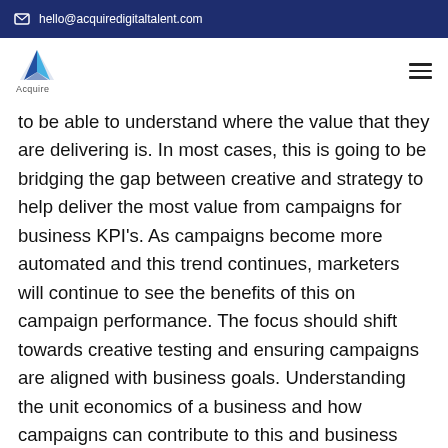hello@acquiredigitaltalent.com
[Figure (logo): Acquire logo — blue triangle/A shape with the word 'Acquire' below]
to be able to understand where the value that they are delivering is. In most cases, this is going to be bridging the gap between creative and strategy to help deliver the most value from campaigns for business KPI's. As campaigns become more automated and this trend continues, marketers will continue to see the benefits of this on campaign performance. The focus should shift towards creative testing and ensuring campaigns are aligned with business goals. Understanding the unit economics of a business and how campaigns can contribute to this and business growth should be at the forefront of all paid social managers minds. Alongside this, continual creative testing to combat ad fatigue and the ever-increasing CPM's that we are facing.